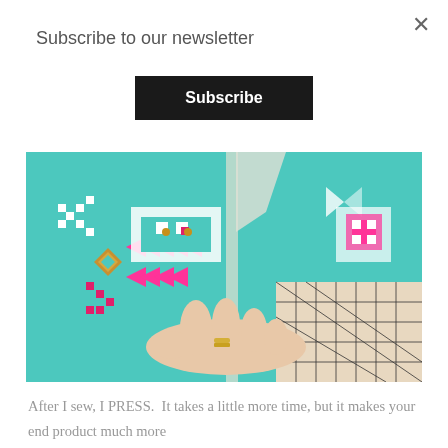Subscribe to our newsletter
Subscribe
[Figure (photo): A hand pressing colorful teal fabric with an Aztec/geometric pattern in pink, white, and gold on a cutting mat with grid lines.]
After I sew, I PRESS.  It takes a little more time, but it makes your end product much more